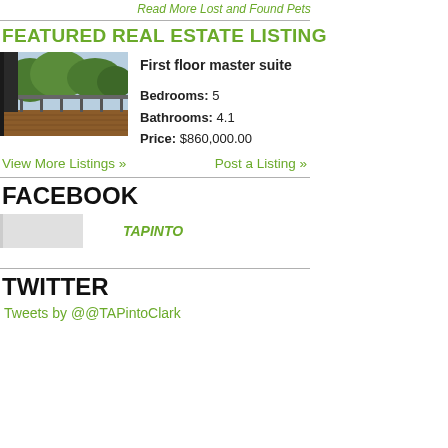Read More Lost and Found Pets
FEATURED REAL ESTATE LISTING
[Figure (photo): Exterior photo of a property showing a deck/balcony with trees in background]
First floor master suite
Bedrooms: 5
Bathrooms: 4.1
Price: $860,000.00
View More Listings »    Post a Listing »
FACEBOOK
TAPINTO
TWITTER
Tweets by @@TAPintoClark